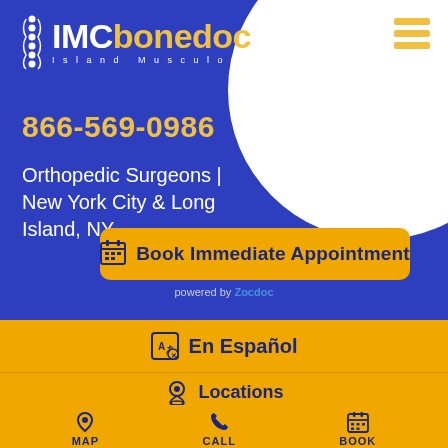[Figure (logo): IMCbonedoc - Island Musculoskeletal Care logo with spine graphic]
866-569-0986
Orthopedic Surgeons | New York City & Long Island, NY
Book Immediate Appointment
powered by Zocdoc
En Español
Locations
MAP
CALL
BOOK